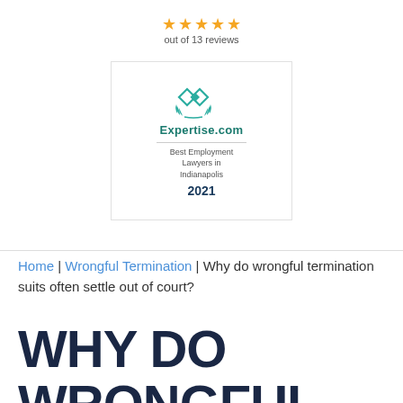[Figure (other): Star rating badge: 5 gold stars, 'out of 13 reviews' text below, orange/gold circular badge design partially visible at top]
[Figure (logo): Expertise.com badge: teal diamond logo, laurel wreath, 'Expertise.com', 'Best Employment Lawyers in Indianapolis', '2021']
Home | Wrongful Termination | Why do wrongful termination suits often settle out of court?
WHY DO WRONGFUL